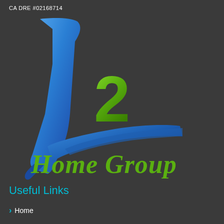CA DRE #02168714
[Figure (logo): L2 Home Group logo: a stylized blue 'L' shape with a green '2' overlaid, and 'Home Group' in green cursive script below, all on a dark gray background]
Useful Links
Home